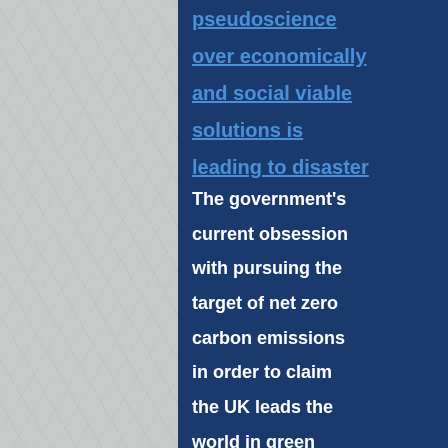pseudoscience over economically and social viable solutions is leading to disaster
The government's current obsession with pursuing the target of net zero carbon emissions in order to claim the UK leads the world in green wankery is more to do with virtue signalling that governing, but with